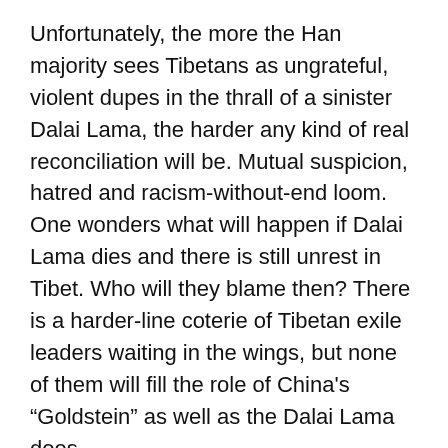Unfortunately, the more the Han majority sees Tibetans as ungrateful, violent dupes in the thrall of a sinister Dalai Lama, the harder any kind of real reconciliation will be. Mutual suspicion, hatred and racism-without-end loom. One wonders what will happen if Dalai Lama dies and there is still unrest in Tibet. Who will they blame then? There is a harder-line coterie of Tibetan exile leaders waiting in the wings, but none of them will fill the role of China's “Goldstein” as well as the Dalai Lama does.
The best thing China can hope for now is that things stay quiet and the episode fades from view over the next few weeks. But that isn’t a long-term solution. In the end the situation is a tragedy not just because it was violent and ugly, but because it was a wasted opportunity. China could have introduced some transparency, allowed foreign reporters in, and started earning itself greater international